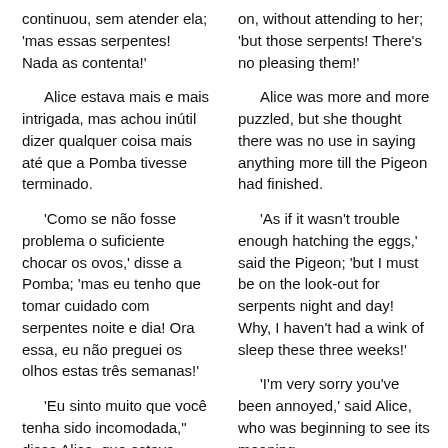continuou, sem atender ela; 'mas essas serpentes! Nada as contenta!'
on, without attending to her; 'but those serpents! There's no pleasing them!'
Alice estava mais e mais intrigada, mas achou inútil dizer qualquer coisa mais até que a Pomba tivesse terminado.
Alice was more and more puzzled, but she thought there was no use in saying anything more till the Pigeon had finished.
'Como se não fosse problema o suficiente chocar os ovos,' disse a Pomba; 'mas eu tenho que tomar cuidado com serpentes noite e dia! Ora essa, eu não preguei os olhos estas três semanas!'
'As if it wasn't trouble enough hatching the eggs,' said the Pigeon; 'but I must be on the look-out for serpents night and day! Why, I haven't had a wink of sleep these three weeks!'
'Eu sinto muito que você tenha sido incomodada," disse Alice, que estava começando a ver o que ela queria dizer.
'I'm very sorry you've been annoyed,' said Alice, who was beginning to see its meaning.
'E logo quando peguei a
'And just as I'd taken the